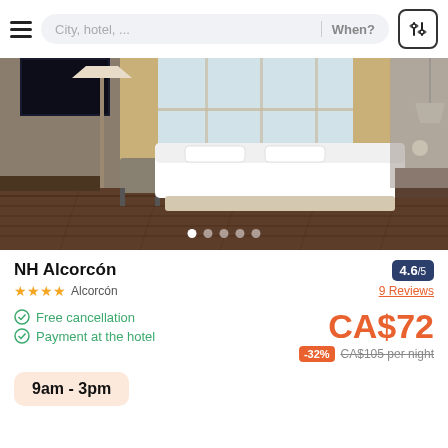City, hotel, ...  When?
[Figure (photo): Hotel room interior with large bed, white linens, hardwood floor, floor lamp, desk, chair, and large windows with curtains]
NH Alcorcón
★★★★ Alcorcón   4.6/5  9 Reviews
Free cancellation
Payment at the hotel
CA$72  -32%  CA$105 per night
9am - 3pm